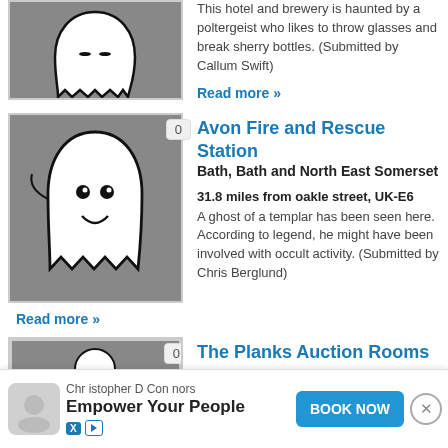[Figure (illustration): Ghost illustration on grey background, partially visible at top]
This hotel and brewery is haunted by a poltergeist who likes to throw glasses and break sherry bottles. (Submitted by Callum Swift)
Read more »
[Figure (illustration): Smiling ghost cartoon illustration on grey background with badge showing 0]
Avon Fire and Rescue Station
Bath, Bath and North East Somerset
31.8 miles from oakle street, UK-E6
A ghost of a templar has been seen here. According to legend, he might have been involved with occult activity. (Submitted by Chris Berglund)
Read more »
[Figure (illustration): Partial ghost illustration at bottom, with badge showing 0]
The Planks Auction Rooms
[Figure (screenshot): Advertisement bar: Christopher D Connors - Empower Your People - BOOK NOW button]